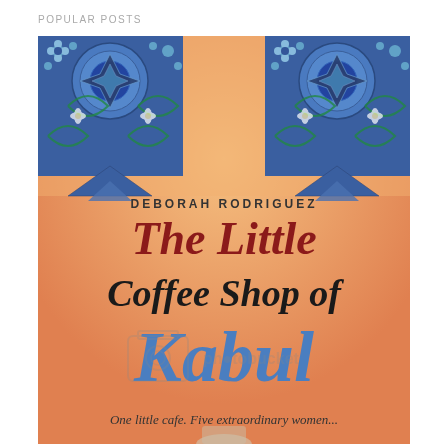POPULAR POSTS
[Figure (illustration): Book cover of 'The Little Coffee Shop of Kabul' by Deborah Rodriguez. Orange/peach background with ornate blue Islamic tile patterns in the top corners. Author name 'DEBORAH RODRIGUEZ' in small caps at top. Title 'The Little Coffee Shop of' in dark red/maroon serif script font, 'Kabul' in large blue handwritten script. Tagline at bottom: 'One little cafe. Five extraordinary women...' with a Photobucket watermark overlay. Bottom shows a partial illustration of a coffee cup.]